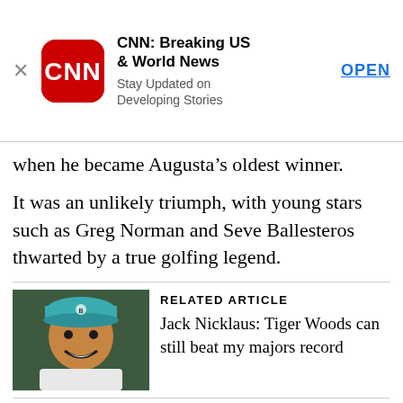[Figure (screenshot): CNN app advertisement banner with CNN logo, title 'CNN: Breaking US & World News', subtitle 'Stay Updated on Developing Stories', and OPEN button]
when he became Augusta’s oldest winner.
It was an unlikely triumph, with young stars such as Greg Norman and Seve Ballesteros thwarted by a true golfing legend.
[Figure (photo): Photo of a golfer (Tiger Woods) smiling, wearing a teal/cyan cap and white shirt]
RELATED ARTICLE
Jack Nicklaus: Tiger Woods can still beat my majors record
Golf fan Milstein watched it all unfold on television, and now understands the special qualities possessed by his partner.
“When Jack got close to winning, he would win – he